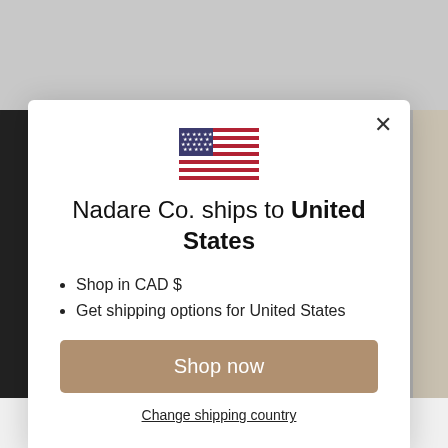[Figure (screenshot): Background of e-commerce website showing a gold chain bracelet at top, dark left sidebar, and beige right sidebar.]
[Figure (illustration): US flag emoji/icon displayed centered in the modal dialog.]
Nadare Co. ships to United States
Shop in CAD $
Get shipping options for United States
Shop now
Change shipping country
Home • Bracelets • Vera Bracelet